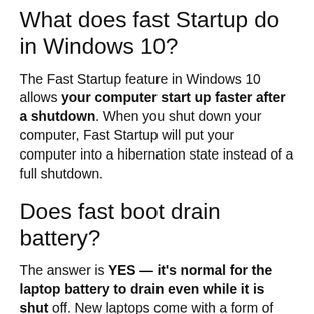What does fast Startup do in Windows 10?
The Fast Startup feature in Windows 10 allows your computer start up faster after a shutdown. When you shut down your computer, Fast Startup will put your computer into a hibernation state instead of a full shutdown.
Does fast boot drain battery?
The answer is YES — it's normal for the laptop battery to drain even while it is shut off. New laptops come with a form of hibernation, known as Fast Startup, enabled — and that causes battery drain. Win10 has